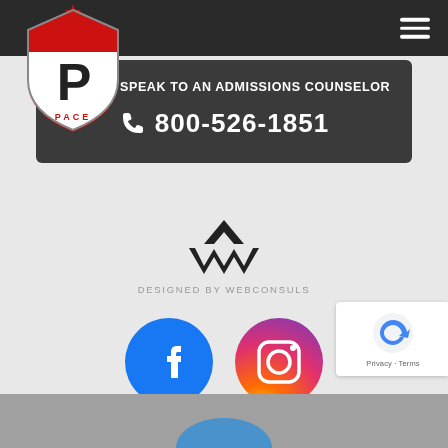[Figure (logo): PACE school shield logo with P letter, red and white design]
CALL TO SPEAK TO AN ADMISSIONS COUNSELOR
800-526-1851
[Figure (logo): WebConsuls logo - double chevron W shape in black]
DESIGNED BY WEBCONSULS
[Figure (logo): Facebook circular blue logo]
[Figure (logo): Instagram circular gradient logo]
[Figure (other): Google reCAPTCHA badge with blue recycling-style arrow logo and Privacy - Terms text]